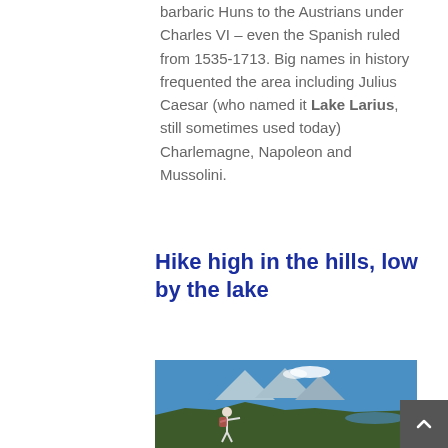barbaric Huns to the Austrians under Charles VI – even the Spanish ruled from 1535-1713. Big names in history frequented the area including Julius Caesar (who named it Lake Larius, still sometimes used today) Charlemagne, Napoleon and Mussolini.
Hike high in the hills, low by the lake
[Figure (photo): A hiker with backpack and hat stands on a mountain ridge pointing into the distance, with a panoramic view of mountains, lake Como, and blue sky with white clouds in the background.]